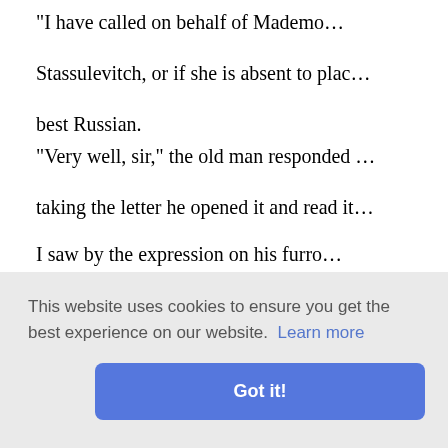"I have called on behalf of Mademoiselle Stassulevitch, or if she is absent to place—best Russian.
"Very well, sir," the old man responded taking the letter he opened it and read it
I saw by the expression on his furrowed brow consternation. His countenance, already a fire of quick apprehension. The thin visibly.
"You know Mademoiselle—eh?" he asked
r to save
rompted by
n I confess
This website uses cookies to ensure you get the best experience on our website. Learn more
Got it!